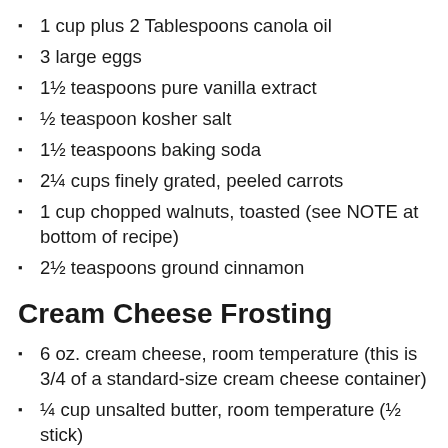1 cup plus 2 Tablespoons canola oil
3 large eggs
1½ teaspoons pure vanilla extract
½ teaspoon kosher salt
1½ teaspoons baking soda
2¼ cups finely grated, peeled carrots
1 cup chopped walnuts, toasted (see NOTE at bottom of recipe)
2½ teaspoons ground cinnamon
Cream Cheese Frosting
6 oz. cream cheese, room temperature (this is 3/4 of a standard-size cream cheese container)
¼ cup unsalted butter, room temperature (½ stick)
⅓ cup powdered sugar